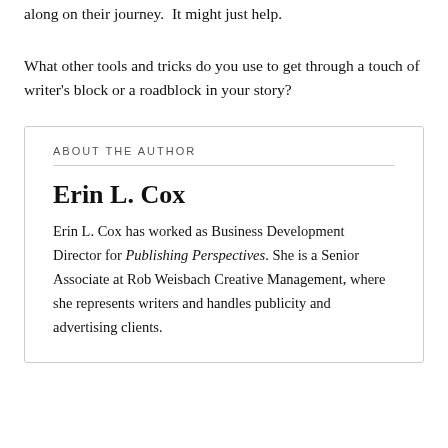along on their journey.  It might just help.
What other tools and tricks do you use to get through a touch of writer's block or a roadblock in your story?
ABOUT THE AUTHOR
Erin L. Cox
Erin L. Cox has worked as Business Development Director for Publishing Perspectives. She is a Senior Associate at Rob Weisbach Creative Management, where she represents writers and handles publicity and advertising clients.